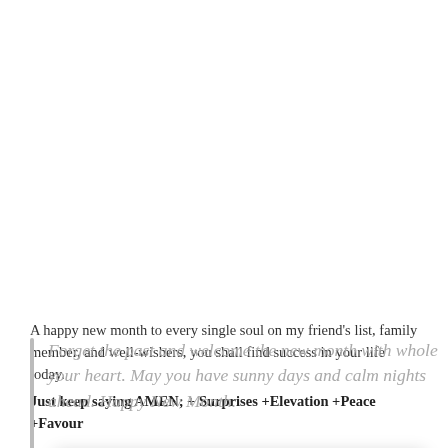Forget the past and welcome the new month with whole your heart. May you have sunny days and calm nights ahead. Happy New Month.
I wis... inspi...
Wish... best...
[Figure (other): Modal popup with yellow background titled 'Get ODM Devotional Daily Via Email'. Contains description 'Sign up for Our Daily Manna and get updates via email free', subscriber count 'Join 19,488 other subscribers', email input field, and 'Sign Me Up' button. Has a close button (x) in top right.]
A happy new month to every single soul on my friend's list, family member, and well-wishers, you shall find success in your life today.
Just keep saying AMEN; + Surprises +Elevation +Peace +Favour